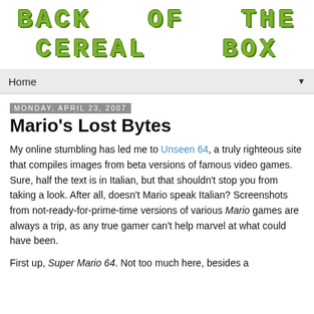[Figure (logo): Pixel-art style logo reading 'BACK OF THE CEREAL BOX' in green blocky letters on white background]
Home ▼
Monday, April 23, 2007
Mario's Lost Bytes
My online stumbling has led me to Unseen 64, a truly righteous site that compiles images from beta versions of famous video games. Sure, half the text is in Italian, but that shouldn't stop you from taking a look. After all, doesn't Mario speak Italian? Screenshots from not-ready-for-prime-time versions of various Mario games are always a trip, as any true gamer can't help marvel at what could have been.
First up, Super Mario 64. Not too much here, besides a